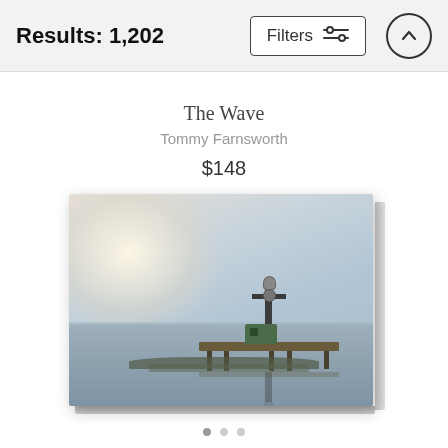Results: 1,202
Filters
The Wave
Tommy Farnsworth
$148
[Figure (photo): Photograph of a dock/pier structure on a calm misty lake or sea, with a light pole on top, reflected in the still water below. The sky is pale blue-grey. The image is displayed as a canvas print with visible side thickness.]
• • •